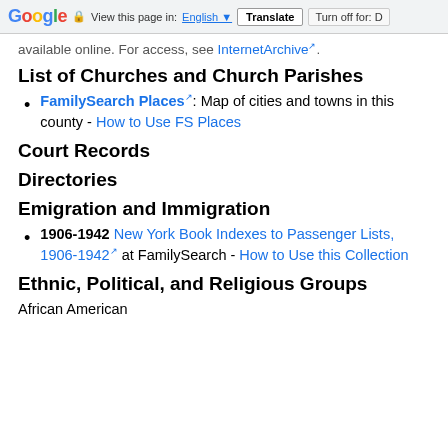Google | View this page in: English | Translate | Turn off for: D
available online. For access, see InternetArchive.
List of Churches and Church Parishes
FamilySearch Places: Map of cities and towns in this county - How to Use FS Places
Court Records
Directories
Emigration and Immigration
1906-1942 New York Book Indexes to Passenger Lists, 1906-1942 at FamilySearch - How to Use this Collection
Ethnic, Political, and Religious Groups
African American